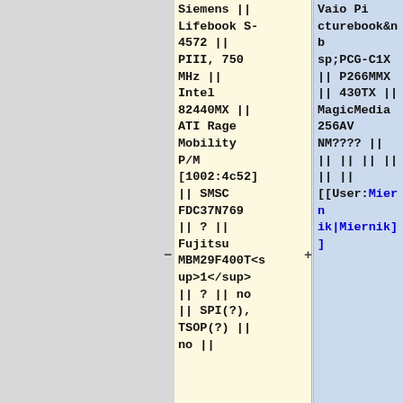| Siemens || Lifebook S-4572 || PIII, 750 MHz || Intel 82440MX || ATI Rage Mobility P/M [1002:4c52] || SMSC FDC37N769 || ? || Fujitsu MBM29F400T<sup>1</sup> || ? || no || SPI(?), TSOP(?) || no || | Vaio&nbsp;Picturebook&nbsp;PCG-C1X || P266MMX || 430TX || MagicMedia 256AV NM???? || || || || || || [[User:Miernik|Miernik]] |